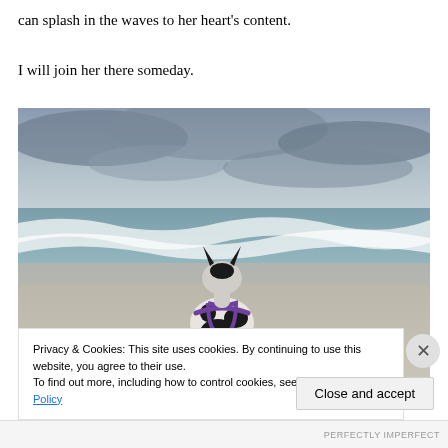can splash in the waves to her heart's content.
I will join her there someday.
[Figure (photo): A black and white dog wearing a purple harness stands on a sandy beach facing the ocean waves, viewed from behind. The sky is overcast with grey clouds.]
Privacy & Cookies: This site uses cookies. By continuing to use this website, you agree to their use.
To find out more, including how to control cookies, see here: Cookie Policy